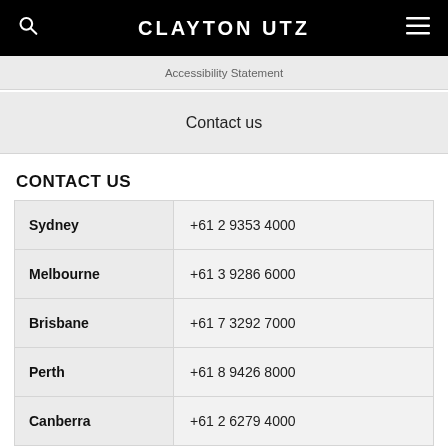CLAYTON UTZ
Accessibility Statement
Contact us
CONTACT US
| City | Phone |
| --- | --- |
| Sydney | +61 2 9353 4000 |
| Melbourne | +61 3 9286 6000 |
| Brisbane | +61 7 3292 7000 |
| Perth | +61 8 9426 8000 |
| Canberra | +61 2 6279 4000 |